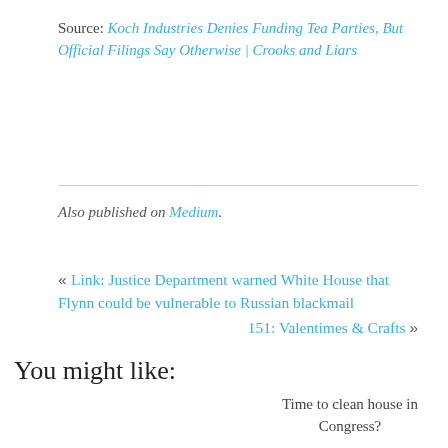Source: Koch Industries Denies Funding Tea Parties, But Official Filings Say Otherwise | Crooks and Liars
Also published on Medium.
« Link: Justice Department warned White House that Flynn could be vulnerable to Russian blackmail
151: Valentimes & Crafts »
You might like:
Time to clean house in Congress?